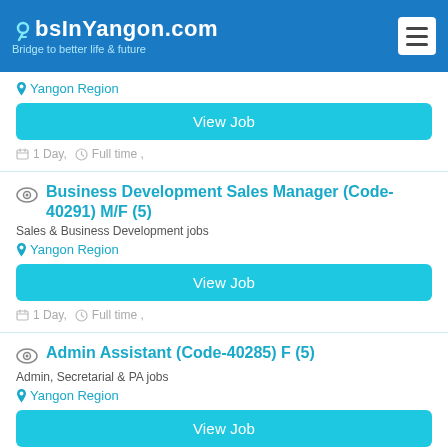JobsInYangon.com — Bridge to better life & future
Yangon Region
View Job
1 Day, Full time ,
Business Development Sales Manager (Code-40291) M/F  (5)
Sales & Business Development jobs
Yangon Region
View Job
1 Day, Full time ,
Admin Assistant (Code-40285) F  (5)
Admin, Secretarial & PA jobs
Yangon Region
View Job